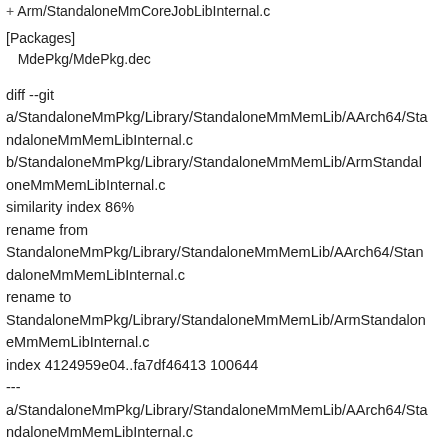Arm/StandaloneMmCoreJobLibInternal.c
[Packages]
   MdePkg/MdePkg.dec
diff --git a/StandaloneMmPkg/Library/StandaloneMmMemLib/AArch64/StandaloneMmMemLibInternal.c b/StandaloneMmPkg/Library/StandaloneMmMemLib/ArmStandaloneMmMemLibInternal.c
similarity index 86%
rename from StandaloneMmPkg/Library/StandaloneMmMemLib/AArch64/StandaloneMmMemLibInternal.c
rename to StandaloneMmPkg/Library/StandaloneMmMemLib/ArmStandaloneMmMemLibInternal.c
index 4124959e04..fa7df46413 100644
---
a/StandaloneMmPkg/Library/StandaloneMmMemLib/AArch64/StandaloneMmMemLibInternal.c
[Figure (other): Footer bar with chat bubble icon button and hamburger menu icon]